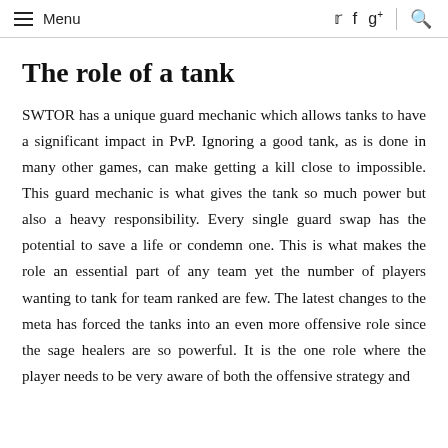Menu
The role of a tank
SWTOR has a unique guard mechanic which allows tanks to have a significant impact in PvP. Ignoring a good tank, as is done in many other games, can make getting a kill close to impossible. This guard mechanic is what gives the tank so much power but also a heavy responsibility. Every single guard swap has the potential to save a life or condemn one. This is what makes the role an essential part of any team yet the number of players wanting to tank for team ranked are few. The latest changes to the meta has forced the tanks into an even more offensive role since the sage healers are so powerful. It is the one role where the player needs to be very aware of both the offensive strategy and